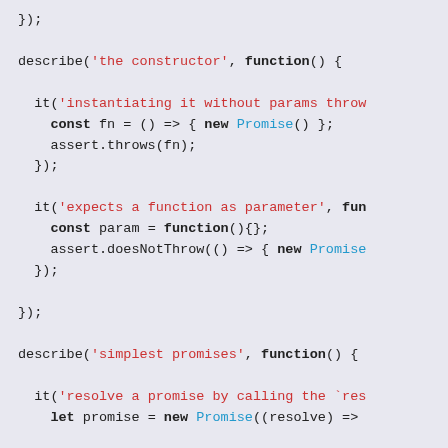});

describe('the constructor', function() {

  it('instantiating it without params throw
    const fn = () => { new Promise() };
    assert.throws(fn);
  });

  it('expects a function as parameter', fun
    const param = function(){};
    assert.doesNotThrow(() => { new Promise
  });

});

describe('simplest promises', function() {

  it('resolve a promise by calling the `res
    let promise = new Promise((resolve) =>